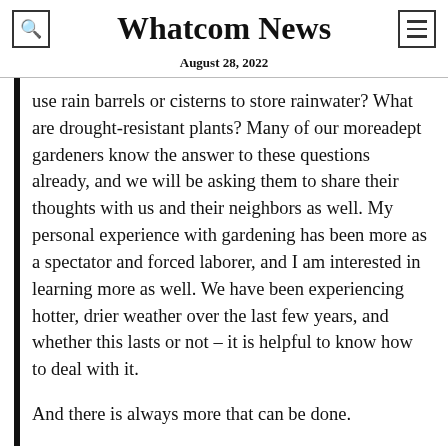Whatcom News
August 28, 2022
use rain barrels or cisterns to store rainwater? What are drought-resistant plants? Many of our moreadept gardeners know the answer to these questions already, and we will be asking them to share their thoughts with us and their neighbors as well. My personal experience with gardening has been more as a spectator and forced laborer, and I am interested in learning more as well. We have been experiencing hotter, drier weather over the last few years, and whether this lasts or not – it is helpful to know how to deal with it.
And there is always more that can be done.